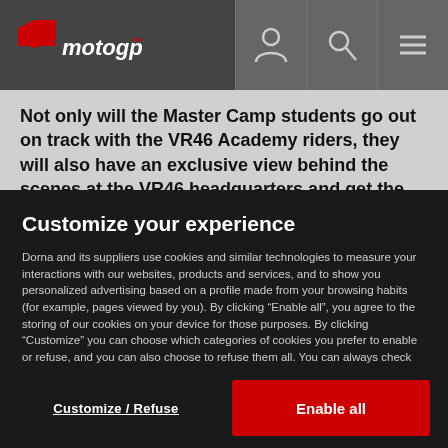MotoGP navigation header with logo and icons
Not only will the Master Camp students go out on track with the VR46 Academy riders, they will also have an exclusive view behind the scenes at the VR46 headquarters and get the opportunity to learn from nine-time World Champion Valentino
Customize your experience
Dorna and its suppliers use cookies and similar technologies to measure your interactions with our websites, products and services, and to show you personalized advertising based on a profile made from your browsing habits (for example, pages viewed by you). By clicking “Enable all”, you agree to the storing of our cookies on your device for those purposes. By clicking “Customize” you can choose which categories of cookies you prefer to enable or refuse, and you can also choose to refuse them all. You can always check our Cookies Policy for further information. Cookie Policy
Customize / Refuse
Enable all